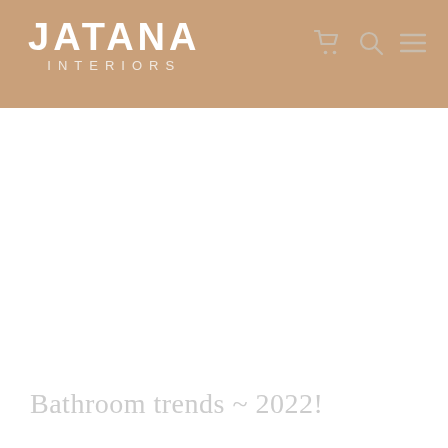JATANA INTERIORS
Bathroom trends ~ 2022!